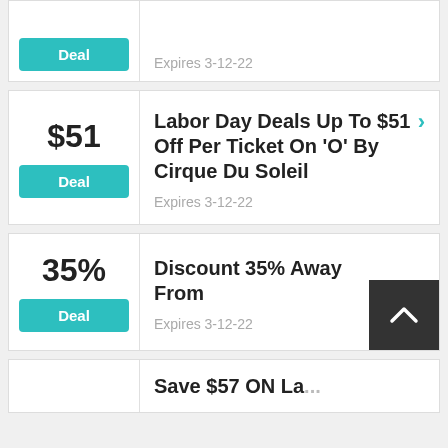Deal — Expires 3-12-22 (partial top card)
$51 Deal — Labor Day Deals Up To $51 Off Per Ticket On 'O' By Cirque Du Soleil — Expires 3-12-22
35% Deal — Discount 35% Away From — Expires 3-12-22
Save $57 ON La... (partial bottom card)